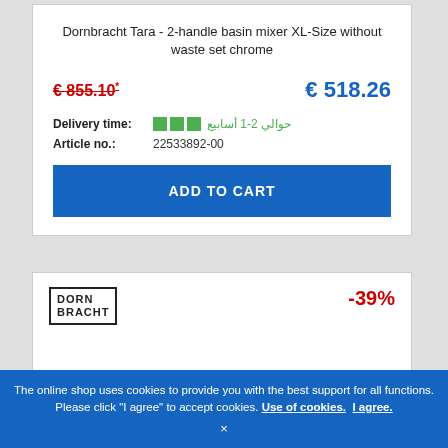Dornbracht Tara - 2-handle basin mixer XL-Size without waste set chrome
€ 855.10* € 518.26
Delivery time: حوالي 2-1 أسابيع
Article no.: 22533892-00
ADD TO CART
[Figure (logo): Dornbracht brand logo in bordered box]
-39%
The online shop uses cookies to provide you with the best support for all functions. Please click "I agree" to accept cookies. Use of cookies. I agree.